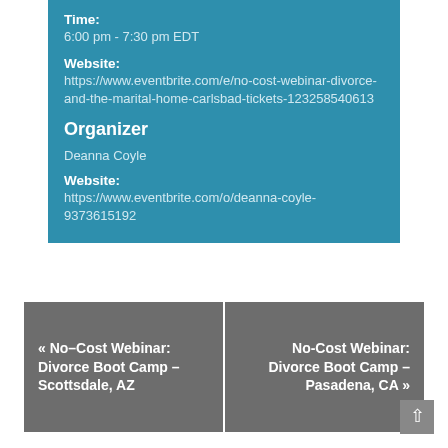Time:
6:00 pm - 7:30 pm EDT
Website:
https://www.eventbrite.com/e/no-cost-webinar-divorce-and-the-marital-home-carlsbad-tickets-123258540613
Organizer
Deanna Coyle
Website:
https://www.eventbrite.com/o/deanna-coyle-9373615192
« No–Cost Webinar: Divorce Boot Camp – Scottsdale, AZ
No-Cost Webinar: Divorce Boot Camp – Pasadena, CA »